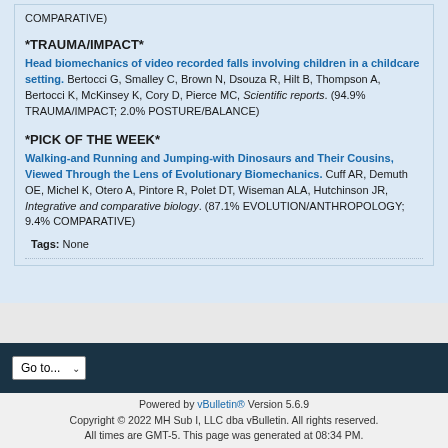COMPARATIVE)
*TRAUMA/IMPACT*
Head biomechanics of video recorded falls involving children in a childcare setting. Bertocci G, Smalley C, Brown N, Dsouza R, Hilt B, Thompson A, Bertocci K, McKinsey K, Cory D, Pierce MC, Scientific reports. (94.9% TRAUMA/IMPACT; 2.0% POSTURE/BALANCE)
*PICK OF THE WEEK*
Walking-and Running and Jumping-with Dinosaurs and Their Cousins, Viewed Through the Lens of Evolutionary Biomechanics. Cuff AR, Demuth OE, Michel K, Otero A, Pintore R, Polet DT, Wiseman ALA, Hutchinson JR, Integrative and comparative biology. (87.1% EVOLUTION/ANTHROPOLOGY; 9.4% COMPARATIVE)
Tags: None
Powered by vBulletin® Version 5.6.9
Copyright © 2022 MH Sub I, LLC dba vBulletin. All rights reserved.
All times are GMT-5. This page was generated at 08:34 PM.